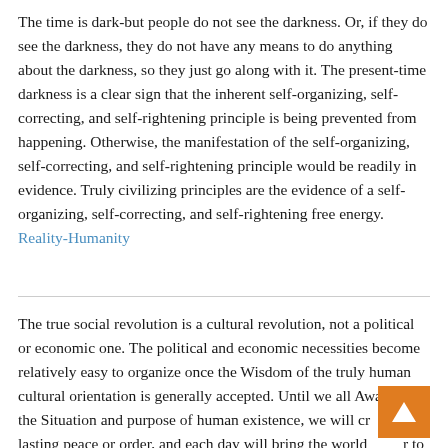The time is dark-but people do not see the darkness. Or, if they do see the darkness, they do not have any means to do anything about the darkness, so they just go along with it. The present-time darkness is a clear sign that the inherent self-organizing, self-correcting, and self-rightening principle is being prevented from happening. Otherwise, the manifestation of the self-organizing, self-correcting, and self-rightening principle would be readily in evidence. Truly civilizing principles are the evidence of a self-organizing, self-correcting, and self-rightening free energy. Reality-Humanity
The true social revolution is a cultural revolution, not a political or economic one. The political and economic necessities become relatively easy to organize once the Wisdom of the truly human cultural orientation is generally accepted. Until we all Awaken to the Situation and purpose of human existence, we will create no lasting peace or order, and each day will bring the world closer to the finite chaos of War and Bewilderment. But if the Wisdom